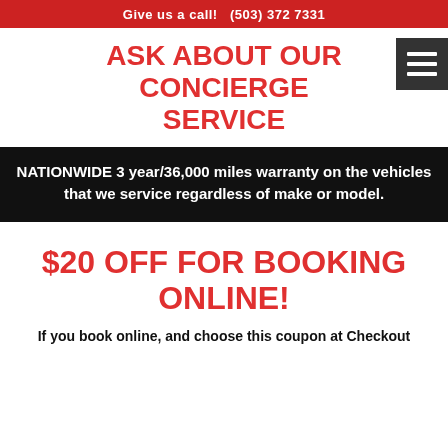Give us a call! (503) 372 7331
ASK ABOUT OUR CONCIERGE SERVICE
NATIONWIDE 3 year/36,000 miles warranty on the vehicles that we service regardless of make or model.
$20 OFF FOR BOOKING ONLINE!
If you book online and choose this coupon at Checkout